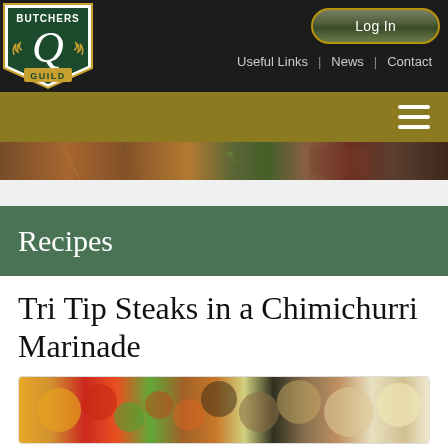[Figure (logo): Butchers Quality Guild shield logo with large Q and laurel wreath]
Log In | Useful Links | News | Contact
[Figure (photo): Hamburger menu icon on gold bar]
[Figure (photo): Hero strip showing grilled meat and rosemary on wooden background]
Recipes
Tri Tip Steaks in a Chimichurri Marinade
[Figure (photo): Colorful grilled vegetables and steak pieces on a plate]